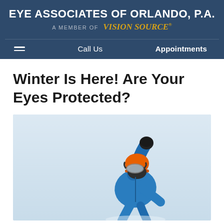EYE ASSOCIATES OF ORLANDO, P.A. — A MEMBER OF Vision Source
Winter Is Here! Are Your Eyes Protected?
[Figure (photo): A snowboarder in a blue jacket and orange helmet with ski goggles, jumping or performing a trick against a pale winter sky background.]